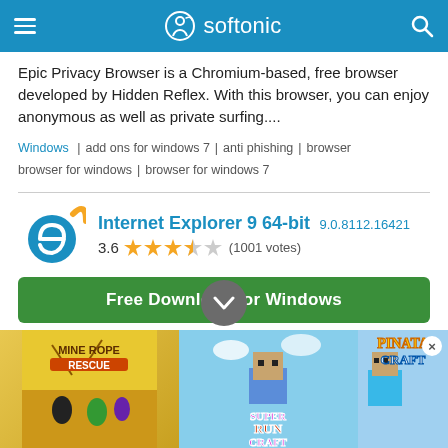softonic
Epic Privacy Browser is a Chromium-based, free browser developed by Hidden Reflex. With this browser, you can enjoy anonymous as well as private surfing....
Windows | add ons for windows 7 | anti phishing | browser browser for windows | browser for windows 7
Internet Explorer 9 64-bit 9.0.8112.16421 3.6 (1001 votes)
[Figure (screenshot): Internet Explorer 9 64-bit app icon - circular blue IE logo with yellow arc]
[Figure (infographic): Green Free Download for Windows button]
The latest edition of the web's most popular browser
Internet Explorer 9 is the new version of Microsoft's hugely
[Figure (screenshot): Bottom advertisement banner showing Mine Rope Rescue, Super Run Craft, and Pinata Craft game ads with a close X button]
[Figure (infographic): Gray circular scroll/expand button with down chevron arrow]